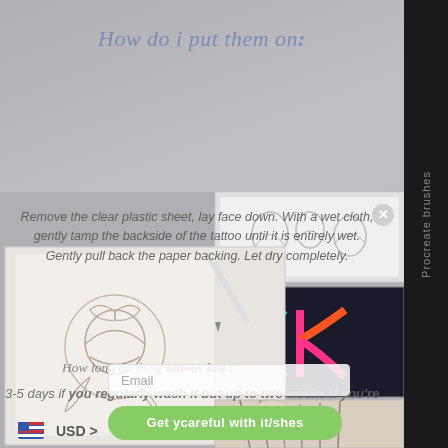How do i put them on :
Remove the clear plastic sheet, lay face down. With a wet cloth, gently tamp the backside of the tattoo until it is entirely wet. Gently pull back the paper backing. Let dry completely.
[Figure (photo): Collage of digital drawing tablets showing rose artwork and graffiti letter K artwork, with Procreate brushes text on the right dark strip]
How long do these tattoos last :
3-5 days if you regularly wash it but up to two weeks if you're careful with it/shes
Email
Get y careful with it/shes
USD >